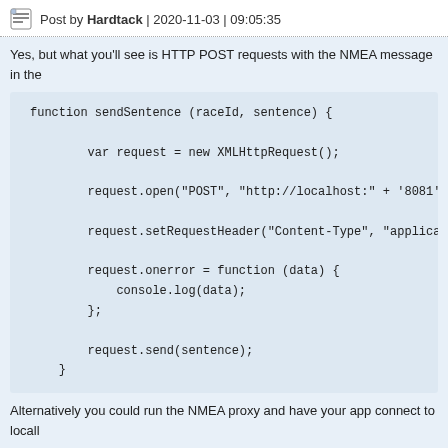Post by Hardtack | 2020-11-03 | 09:05:35
Yes, but what you'll see is HTTP POST requests with the NMEA message in the
Alternatively you could run the NMEA proxy and have your app connect to locall